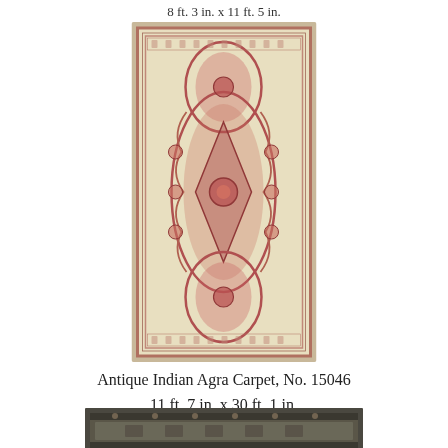8 ft. 3 in. x 11 ft. 5 in.
[Figure (photo): Antique Indian Agra Carpet runner rug with cream/ivory background and red floral medallion pattern, elongated rectangular runner shape]
Antique Indian Agra Carpet, No. 15046
11 ft. 7 in. x 30 ft. 1 in.
[Figure (photo): Antique carpet with dark navy/green background and geometric border pattern, horizontal orientation, partially visible at bottom of page]